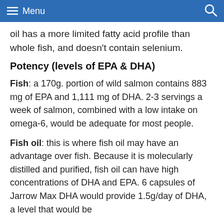≡ Menu  🔍
oil has a more limited fatty acid profile than whole fish, and doesn't contain selenium.
Potency (levels of EPA & DHA)
Fish: a 170g. portion of wild salmon contains 883 mg of EPA and 1,111 mg of DHA. 2-3 servings a week of salmon, combined with a low intake on omega-6, would be adequate for most people.
Fish oil: this is where fish oil may have an advantage over fish. Because it is molecularly distilled and purified, fish oil can have high concentrations of DHA and EPA. 6 capsules of Jarrow Max DHA would provide 1.5g/day of DHA, a level that would be